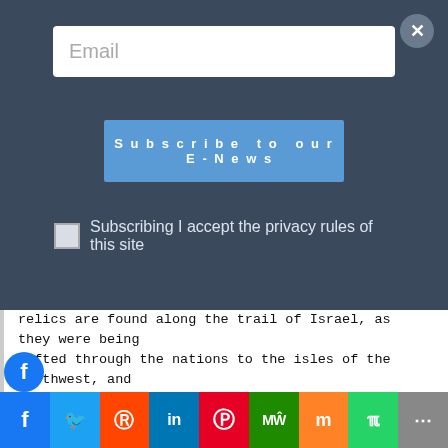[Figure (screenshot): Email newsletter subscription modal overlay with dark blue-grey background, email input field, 'Subscribe to our E-News' button in blue, and privacy checkbox with text. Close (X) button in top right corner.]
Subscribing I accept the privacy rules of this site
relics are found along the trail of Israel, as they were being sifted through the nations to the isles of the Northwest, and which Ignatius Donnelly finds not only in Egypt and Ireland, but almost everywhere else. Donnelly's object in discussing the pre-Christian cross is to prove that the cross has been a sacred emblem ever since the creation of man, and that it originated in the garden of Eden, because of the four rivers
[Figure (infographic): Social media sharing bar at the bottom with icons for Facebook, Twitter, Reddit, LinkedIn, Pinterest, MeWe, Mix, WhatsApp, and a generic share icon in various brand colors.]